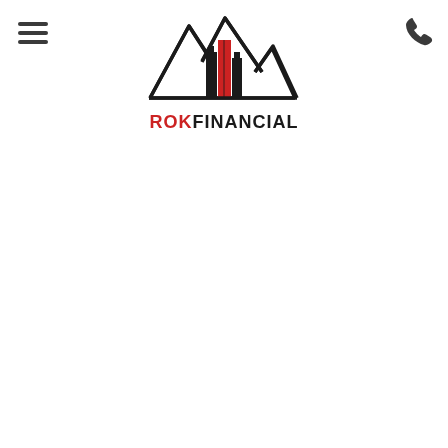[Figure (logo): ROK Financial logo: mountain silhouette with building/bar chart shapes in black and red, with text ROKFINANCIAL below where ROK is in red and FINANCIAL is in black]